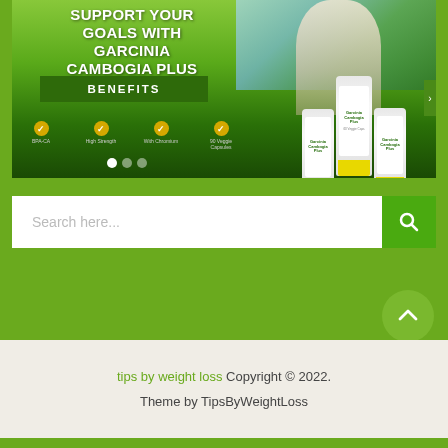[Figure (infographic): Garcinia Cambogia Plus advertisement banner with scenic mountain/tropical background, woman in athletic wear, product bottles, and benefits icons with gold checkmarks. Text: SUPPORT YOUR GOALS WITH GARCINIA CAMBOGIA PLUS, BENEFITS button, icons for BPA-CA, High Strength, With Chromium, 90 Veggie Capsules]
[Figure (other): Search bar with placeholder text 'Search here...' and green magnifying glass button]
[Figure (other): Green circular scroll-to-top button with upward chevron arrow]
tips by weight loss Copyright © 2022.
Theme by TipsByWeightLoss